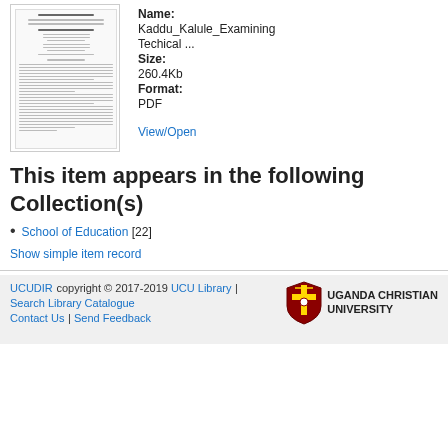[Figure (other): Thumbnail preview of a PDF document titled about examining technical issues in education]
Name: Kaddu_Kalule_Examining Techical ...
Size: 260.4Kb
Format: PDF
View/Open
This item appears in the following Collection(s)
School of Education [22]
Show simple item record
UCUDIR copyright © 2017-2019  UCU Library |  Search Library Catalogue  Contact Us | Send Feedback